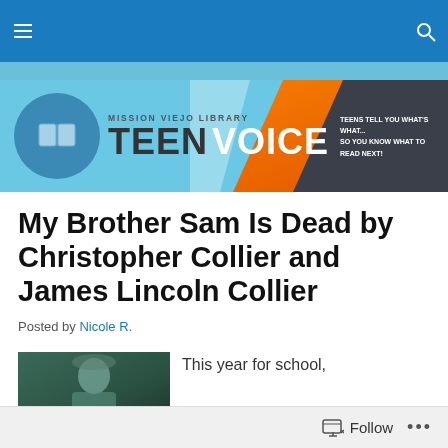Mission Viejo Library Teen Voice — Teens tell you what's what... so you know what to read next!
[Figure (logo): Mission Viejo Library Teen Voice banner logo with book icon, teal/orange/dark color scheme]
My Brother Sam Is Dead by Christopher Collier and James Lincoln Collier
Posted by Nicole R.
[Figure (photo): Book cover of My Brother Sam Is Dead showing a figure in period clothing]
This year for school,
Follow ...